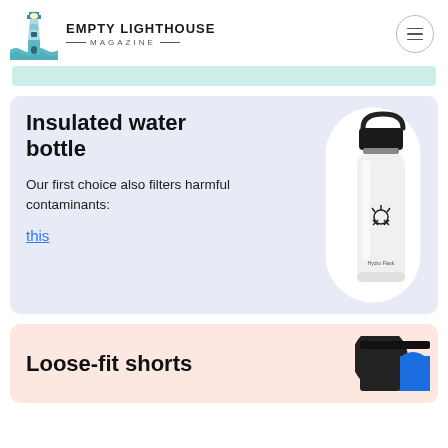EMPTY LIGHTHOUSE MAGAZINE
[Figure (photo): Hydro Flask insulated white water bottle with black cap and strap loop]
Insulated water bottle
Our first choice also filters harmful contaminants:
this
Loose-fit shorts
[Figure (photo): Blue and black loose-fit shorts]